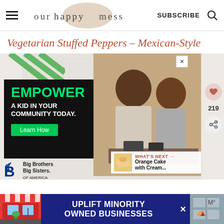ourhappymess | SUBSCRIBE
Vegetarian Stuffed Peppers – Mexican-Style
[Figure (screenshot): Advertisement for Big Brothers Big Sisters of America with 'EMPOWER A KID IN YOUR COMMUNITY TODAY. Learn How' on dark background, with photo of adult man and young boy working together on a project]
219
[Figure (screenshot): Bottom banner ad: 'UPLIFT MINORITY OWNED BUSINESSES' on dark blue background with store illustration on left]
WHAT'S NEXT → Orange Cake with Cream...